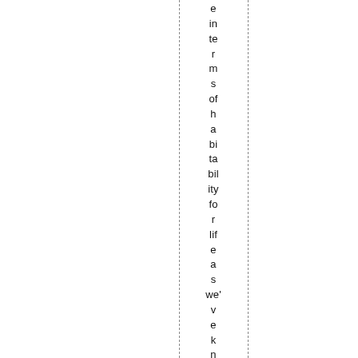e in te r m s of h a bi ta bil ity fo r lif e a s we' v e k n o w n it.